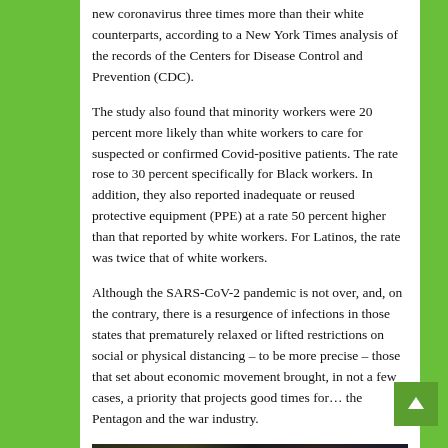new coronavirus three times more than their white counterparts, according to a New York Times analysis of the records of the Centers for Disease Control and Prevention (CDC).
The study also found that minority workers were 20 percent more likely than white workers to care for suspected or confirmed Covid-positive patients. The rate rose to 30 percent specifically for Black workers. In addition, they also reported inadequate or reused protective equipment (PPE) at a rate 50 percent higher than that reported by white workers. For Latinos, the rate was twice that of white workers.
Although the SARS-CoV-2 pandemic is not over, and, on the contrary, there is a resurgence of infections in those states that prematurely relaxed or lifted restrictions on social or physical distancing – to be more precise – those that set about economic movement brought, in not a few cases, a priority that projects good times for… the Pentagon and the war industry.
[Figure (photo): Dark photograph at the bottom of the page, partially visible, showing people in a dark setting with a small green light visible.]